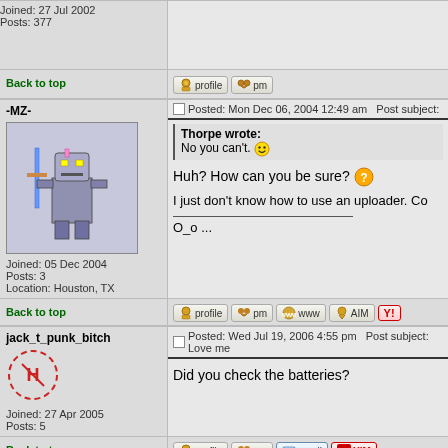Joined: 27 Jul 2002
Posts: 377
Back to top
-MZ-
[Figure (illustration): Avatar of user -MZ- showing a pixel art robot/knight character with a sword]
Joined: 05 Dec 2004
Posts: 3
Location: Houston, TX
Posted: Mon Dec 06, 2004 12:49 am   Post subject:
Thorpe wrote:
No you can't.
Huh? How can you be sure?
I just don't know how to use an uploader. Co
O_o ...
Back to top
jack_t_punk_bitch
[Figure (illustration): Avatar of user jack_t_punk_bitch showing a dashed circle logo in red]
Joined: 27 Apr 2005
Posts: 5
Posted: Wed Jul 19, 2006 4:55 pm   Post subject: Love me
Did you check the batteries?
Back to top
cbaldwin69
Posted: Tue Oct 27, 2009 9:47 am   Post subject:
try to make sure there's no sporm in the con